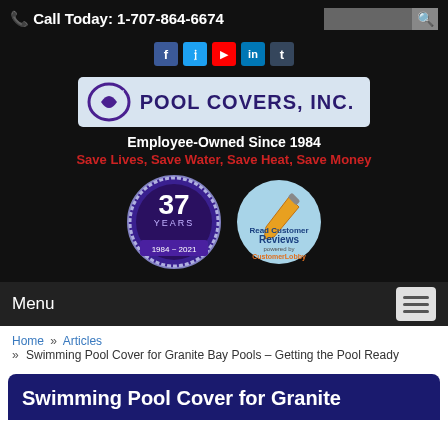📞 Call Today: 1-707-864-6674
[Figure (logo): Pool Covers, Inc. logo with circular emblem]
Employee-Owned Since 1984
Save Lives, Save Water, Save Heat, Save Money
[Figure (illustration): 37 Years badge 1984-2021 and Read Customer Reviews badge]
Menu
Home » Articles » Swimming Pool Cover for Granite Bay Pools – Getting the Pool Ready
Swimming Pool Cover for Granite